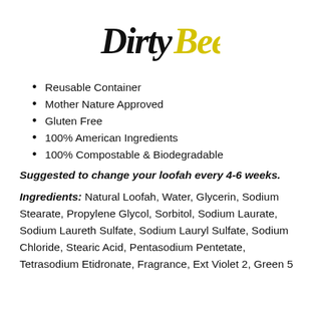[Figure (logo): Dirty Bee logo: 'Dirty' in black brush script and 'Bee' in yellow brush script]
Reusable Container
Mother Nature Approved
Gluten Free
100% American Ingredients
100% Compostable & Biodegradable
Suggested to change your loofah every 4-6 weeks.
Ingredients: Natural Loofah, Water, Glycerin, Sodium Stearate, Propylene Glycol, Sorbitol, Sodium Laurate, Sodium Laureth Sulfate, Sodium Lauryl Sulfate, Sodium Chloride, Stearic Acid, Pentasodium Pentetate, Tetrasodium Etidronate, Fragrance, Ext Violet 2, Green 5